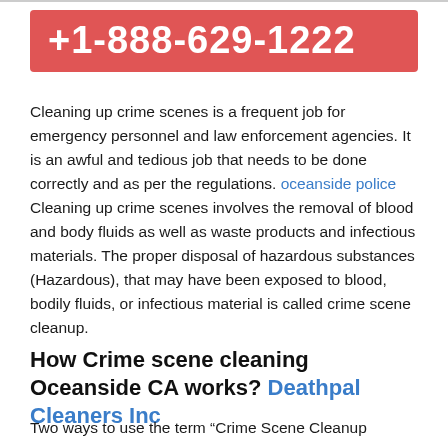+1-888-629-1222
Cleaning up crime scenes is a frequent job for emergency personnel and law enforcement agencies. It is an awful and tedious job that needs to be done correctly and as per the regulations. oceanside police Cleaning up crime scenes involves the removal of blood and body fluids as well as waste products and infectious materials. The proper disposal of hazardous substances (Hazardous), that may have been exposed to blood, bodily fluids, or infectious material is called crime scene cleanup.
How Crime scene cleaning Oceanside CA works? Deathpal Cleaners Inc
Two ways to use the term “Crime Scene Cleanup